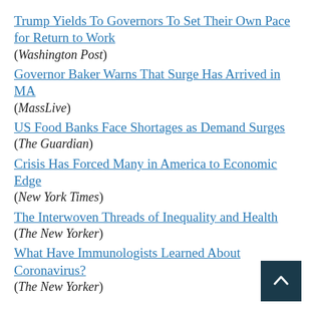Trump Yields To Governors To Set Their Own Pace for Return to Work
(Washington Post)
Governor Baker Warns That Surge Has Arrived in MA
(MassLive)
US Food Banks Face Shortages as Demand Surges
(The Guardian)
Crisis Has Forced Many in America to Economic Edge
(New York Times)
The Interwoven Threads of Inequality and Health
(The New Yorker)
What Have Immunologists Learned About Coronavirus?
(The New Yorker)